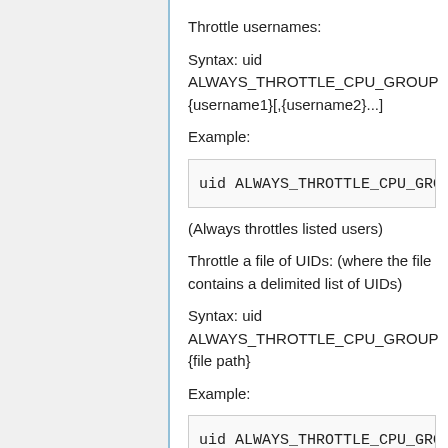Throttle usernames:
Syntax: uid ALWAYS_THROTTLE_CPU_GROUP {username1}[,{username2}...]
Example:
uid ALWAYS_THROTTLE_CPU_GROUP b
(Always throttles listed users)
Throttle a file of UIDs: (where the file contains a delimited list of UIDs)
Syntax: uid ALWAYS_THROTTLE_CPU_GROUP {file path}
Example:
uid ALWAYS_THROTTLE_CPU_GROUP A